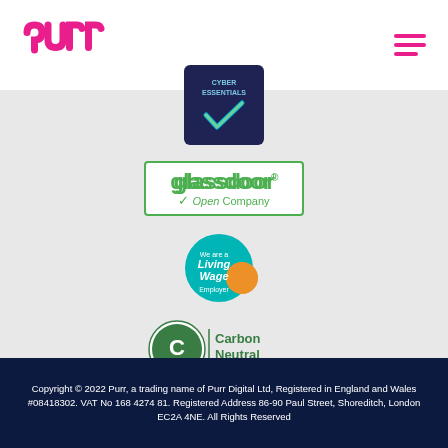[Figure (logo): Purr logo in pink/magenta color in the top left, and a hamburger menu icon (three lines) in pink on the top right]
[Figure (logo): Cyber Essentials certification badge - dark navy square with blue and green checkmark]
[Figure (logo): Glassdoor Open Company badge - green bordered rectangle with glassdoor wordmark and OpenCompany text]
[Figure (logo): Living Wage Employer badge - teal/blue circle with yellow and red accent]
[Figure (logo): Carbon Neutral PAS 2060 certification badge - green circle C logo with Carbon Neutral PAS 2060 text]
Copyright © 2022 Purr, a trading name of Purr Digital Ltd, Registered in England and Wales #08418302. VAT No 168 4274 81. Registered Address 86-90 Paul Street, Shoreditch, London EC2A 4NE. All Rights Reserved